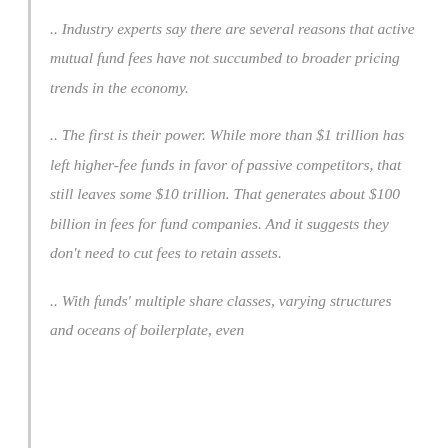.. Industry experts say there are several reasons that active mutual fund fees have not succumbed to broader pricing trends in the economy.
.. The first is their power. While more than $1 trillion has left higher-fee funds in favor of passive competitors, that still leaves some $10 trillion. That generates about $100 billion in fees for fund companies. And it suggests they don't need to cut fees to retain assets.
.. With funds' multiple share classes, varying structures and oceans of boilerplate, even